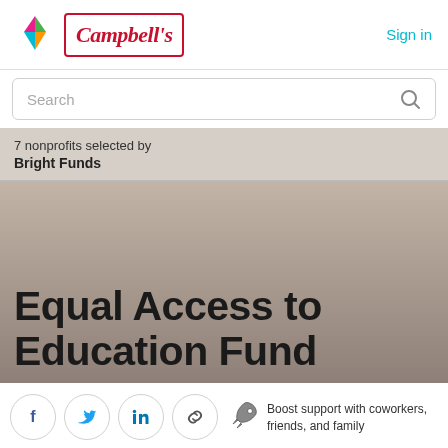[Figure (logo): Bright Funds kite/diamond logo and Campbell's soup brand logo]
Sign in
Search
7 nonprofits selected by
Bright Funds
Equal Access to Education Fund
[Figure (infographic): Social share buttons: Facebook, Twitter, LinkedIn, Link. Rocket icon with text: Boost support with coworkers, friends, and family]